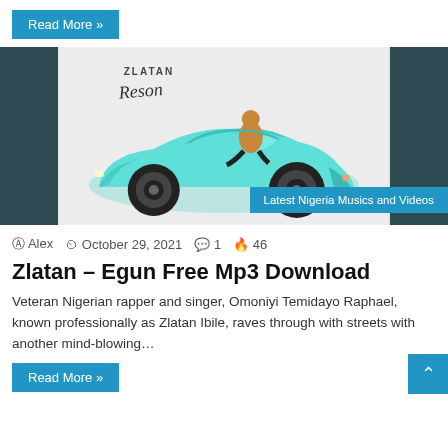Read More »
[Figure (photo): Album art for Zlatan 'Reson' showing a teal/turquoise sports convertible car with a person sitting on it, against a white background. Dark teal borders on left and right. A 'Latest Nigeria Musics and Videos' badge overlay at bottom right.]
Alex  October 29, 2021  1  46
Zlatan – Egun Free Mp3 Download
Veteran Nigerian rapper and singer, Omoniyi Temidayo Raphael, known professionally as Zlatan Ibile, raves through with streets with another mind-blowing…
Read More »